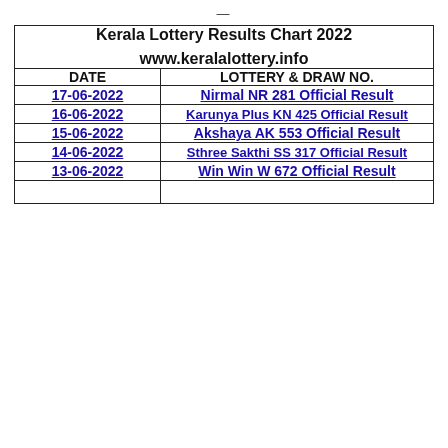| DATE | LOTTERY & DRAW NO. |
| --- | --- |
| 17-06-2022 | Nirmal NR 281 Official Result |
| 16-06-2022 | Karunya Plus KN 425 Official Result |
| 15-06-2022 | Akshaya AK 553 Official Result |
| 14-06-2022 | Sthree Sakthi SS 317 Official Result |
| 13-06-2022 | Win Win W 672 Official Result |